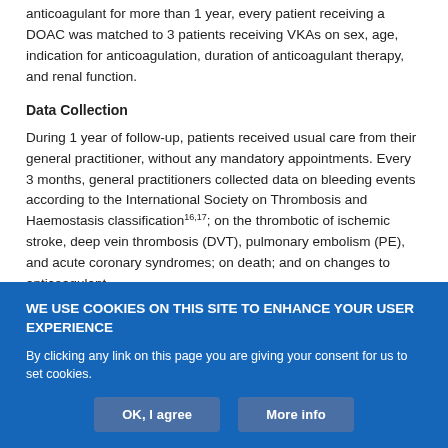anticoagulant for more than 1 year, every patient receiving a DOAC was matched to 3 patients receiving VKAs on sex, age, indication for anticoagulation, duration of anticoagulant therapy, and renal function.
Data Collection
During 1 year of follow-up, patients received usual care from their general practitioner, without any mandatory appointments. Every 3 months, general practitioners collected data on bleeding events according to the International Society on Thrombosis and Haemostasis classification16,17; on the thrombotic of ischemic stroke, deep vein thrombosis (DVT), pulmonary embolism (PE), and acute coronary syndromes; on death; and on changes to anticoagulant
WE USE COOKIES ON THIS SITE TO ENHANCE YOUR USER EXPERIENCE
By clicking any link on this page you are giving your consent for us to set cookies.